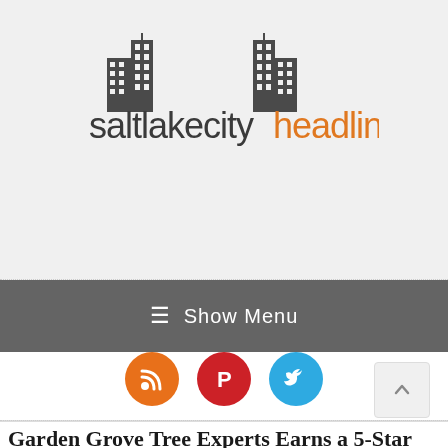[Figure (logo): Salt Lake City Headlines logo with building silhouettes. Text reads 'saltlakecity' in dark gray/charcoal and 'headlines' in orange, with two building icons above the text.]
≡  Show Menu
[Figure (infographic): Three circular social media icon buttons: RSS (orange), Pinterest (red), Twitter (blue)]
Garden Grove Tree Experts Earns a 5-Star